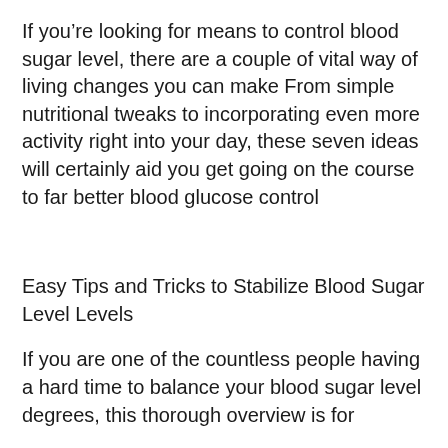If you're looking for means to control blood sugar level, there are a couple of vital way of living changes you can make From simple nutritional tweaks to incorporating even more activity right into your day, these seven ideas will certainly aid you get going on the course to far better blood glucose control
Easy Tips and Tricks to Stabilize Blood Sugar Level Levels
If you are one of the countless people having a hard time to balance your blood sugar level degrees, this thorough overview is for